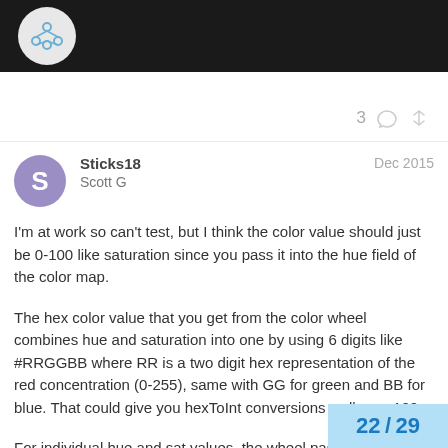3
Sticks18
Scott G
Dec 2015
I'm at work so can't test, but I think the color value should just be 0-100 like saturation since you pass it into the hue field of the color map.
The hex color value that you get from the color wheel combines hue and saturation into one by using 6 digits like #RRGGBB where RR is a two digit hex representation of the red concentration (0-255), same with GG for green and BB for blue. That could give you hexToInt conversions well over 100.
For individual hue and sat values, the wheel passes a value from 0-100 that gets converted by th deviceTypes based on what range the dev
22 / 29